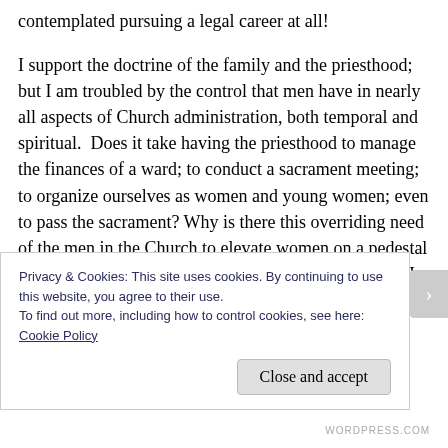contemplated pursuing a legal career at all!
I support the doctrine of the family and the priesthood; but I am troubled by the control that men have in nearly all aspects of Church administration, both temporal and spiritual.  Does it take having the priesthood to manage the finances of a ward; to conduct a sacrament meeting; to organize ourselves as women and young women; even to pass the sacrament? Why is there this overriding need of the men in the Church to elevate women on a pedestal while denying them full expression as human beings? I am not a foil to you
Privacy & Cookies: This site uses cookies. By continuing to use this website, you agree to their use.
To find out more, including how to control cookies, see here: Cookie Policy